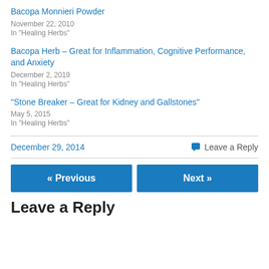Bacopa Monnieri Powder
November 22, 2010
In "Healing Herbs"
Bacopa Herb – Great for Inflammation, Cognitive Performance, and Anxiety
December 2, 2019
In "Healing Herbs"
“Stone Breaker – Great for Kidney and Gallstones”
May 5, 2015
In "Healing Herbs"
December 29, 2014
Leave a Reply
« Previous
Next »
Leave a Reply